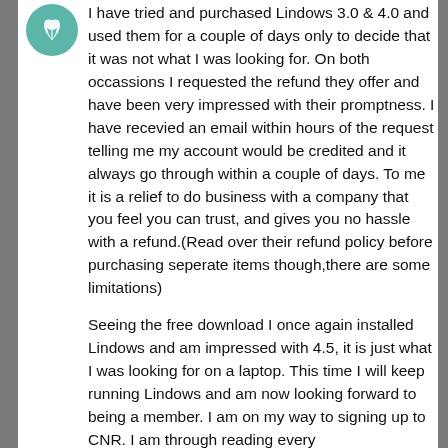[Figure (illustration): Circular teal avatar icon with a white leaf/plant motif]
I have tried and purchased Lindows 3.0 & 4.0 and used them for a couple of days only to decide that it was not what I was looking for. On both occassions I requested the refund they offer and have been very impressed with their promptness. I have recevied an email within hours of the request telling me my account would be credited and it always go through within a couple of days. To me it is a relief to do business with a company that you feel you can trust, and gives you no hassle with a refund.(Read over their refund policy before purchasing seperate items though,there are some limitations)
Seeing the free download I once again installed Lindows and am impressed with 4.5, it is just what I was looking for on a laptop. This time I will keep running Lindows and am now looking forward to being a member. I am on my way to signing up to CNR. I am through reading every